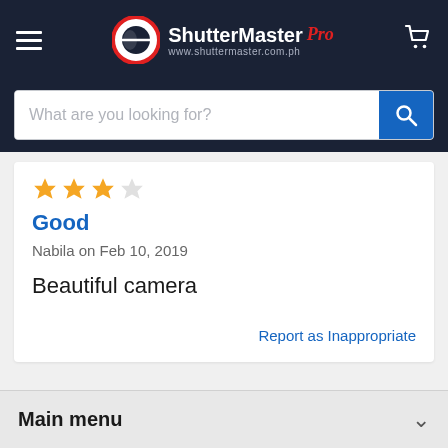ShutterMaster Pro — www.shuttermaster.com.ph
What are you looking for?
★★★☆☆
Good
Nabila on Feb 10, 2019
Beautiful camera
Report as Inappropriate
Main menu